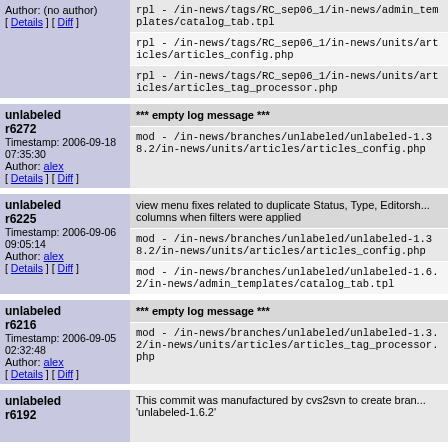| Revision info | Changes |
| --- | --- |
| Author: (no author)
[Details] [Diff] | rpl - /in-news/tags/RC_sep06_1/in-news/admin_templates/catalog_tab.tpl
rpl - /in-news/tags/RC_sep06_1/in-news/units/articles/articles_config.php
rpl - /in-news/tags/RC_sep06_1/in-news/units/articles/articles_tag_processor.php |
| unlabeled r6272
Timestamp: 2006-09-18 07:35:30
Author: alex
[Details] [Diff] | *** empty log message ***
mod - /in-news/branches/unlabeled/unlabeled-1.38.2/in-news/units/articles/articles_config.php |
| unlabeled r6225
Timestamp: 2006-09-06 09:05:14
Author: alex
[Details] [Diff] | view menu fixes related to duplicate Status, Type, Editorsh... columns when filters were applied
mod - /in-news/branches/unlabeled/unlabeled-1.38.2/in-news/units/articles/articles_config.php
mod - /in-news/branches/unlabeled/unlabeled-1.6.2/in-news/admin_templates/catalog_tab.tpl |
| unlabeled r6216
Timestamp: 2006-09-05 02:32:48
Author: alex
[Details] [Diff] | *** empty log message ***
mod - /in-news/branches/unlabeled/unlabeled-1.3.2/in-news/units/articles/articles_tag_processor.php |
| unlabeled r6192 | This commit was manufactured by cvs2svn to create bran... 'unlabeled-1.6.2' |